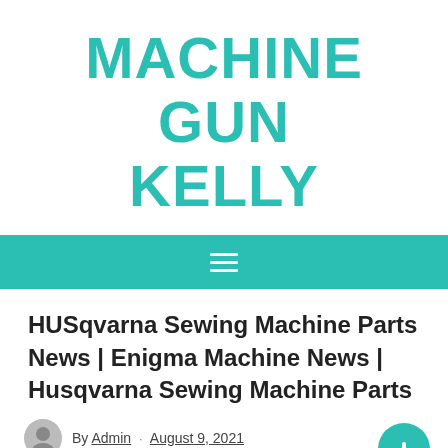MACHINE GUN KELLY
[Figure (other): Teal navigation bar with hamburger menu icon (three horizontal white lines)]
HUSqvarna Sewing Machine Parts News | Enigma Machine News | Husqvarna Sewing Machine Parts
By Admin · August 9, 2021